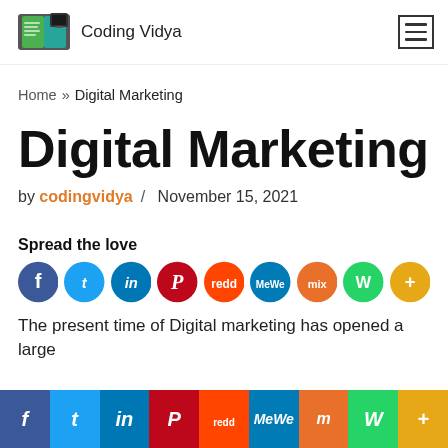Coding Vidya
Home » Digital Marketing
Digital Marketing
by codingvidya / November 15, 2021
Spread the love
[Figure (infographic): Social sharing icons row: Facebook, Twitter, LinkedIn, Pinterest, Reddit, MeWe, Mix, WhatsApp, More]
The present time of Digital marketing has opened a large
[Figure (infographic): Bottom social sharing bar with icons: Facebook, Twitter, LinkedIn, Pinterest, Reddit, MeWe, Mix, WhatsApp, More]